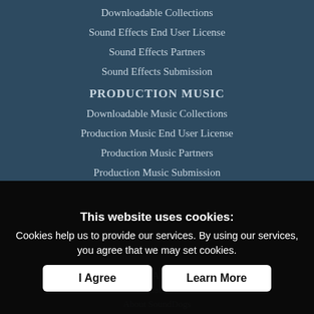Downloadable Collections
Sound Effects End User License
Sound Effects Partners
Sound Effects Submission
PRODUCTION MUSIC
Downloadable Music Collections
Production Music End User License
Production Music Partners
Production Music Submission
This website uses cookies:
Cookies help us to provide our services. By using our services, you agree that we may set cookies.
Terms of Use
I Agree
Learn More
CONTACT US
Contact Us
About SoundDogs